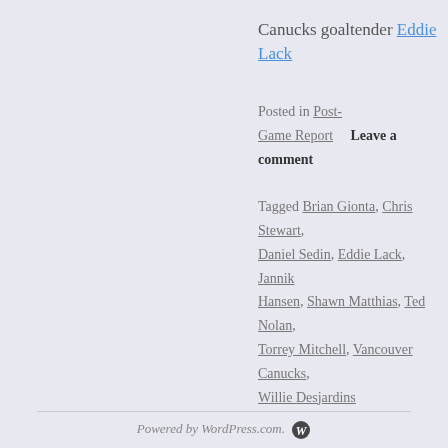Canucks goaltender Eddie Lack
Posted in Post-Game Report   Leave a comment
Tagged Brian Gionta, Chris Stewart, Daniel Sedin, Eddie Lack, Jannik Hansen, Shawn Matthias, Ted Nolan, Torrey Mitchell, Vancouver Canucks, Willie Desjardins
SEACH DIGITAL PRESS BOX
ARCHIVES
CATEGORIES
SUBSCRIBE TO UPDATES
Powered by WordPress.com.